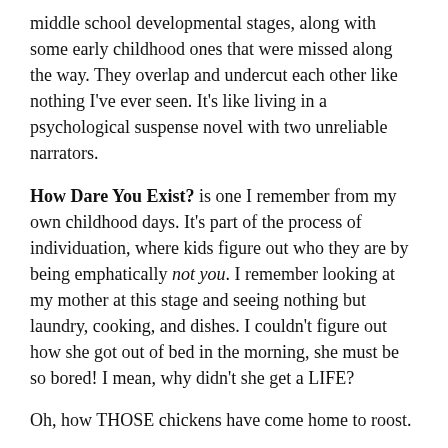middle school developmental stages, along with some early childhood ones that were missed along the way. They overlap and undercut each other like nothing I've ever seen. It's like living in a psychological suspense novel with two unreliable narrators.
How Dare You Exist? is one I remember from my own childhood days. It's part of the process of individuation, where kids figure out who they are by being emphatically not you. I remember looking at my mother at this stage and seeing nothing but laundry, cooking, and dishes. I couldn't figure out how she got out of bed in the morning, she must be so bored! I mean, why didn't she get a LIFE?
Oh, how THOSE chickens have come home to roost.
There are days where the snotty comments are so fast & furious, I have to go upstairs just to think up new consequences to dole out. I actually have to remove